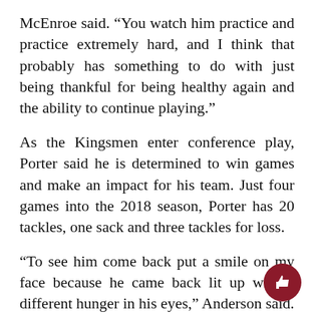McEnroe said. “You watch him practice and practice extremely hard, and I think that probably has something to do with just being thankful for being healthy again and the ability to continue playing.”
As the Kingsmen enter conference play, Porter said he is determined to win games and make an impact for his team. Just four games into the 2018 season, Porter has 20 tackles, one sack and three tackles for loss.
“To see him come back put a smile on my face because he came back lit up with a different hunger in his eyes,” Anderson said.
As for the rest of the team, McEnroe said he hopes the team will continue to invest their t into becoming a championship-level college